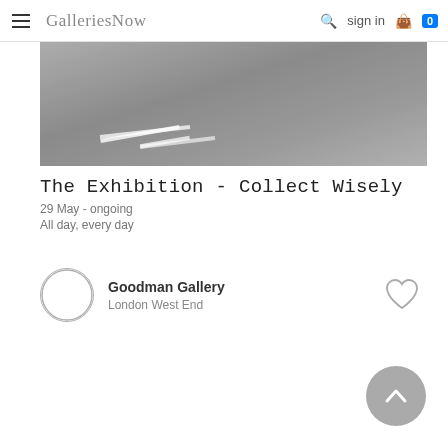GalleriesNow  sign in  0
[Figure (photo): Aerial or ground-level photo of a road/pavement with white line markings, grey surface]
The Exhibition - Collect Wisely
29 May - ongoing
All day, every day
Goodman Gallery
London West End